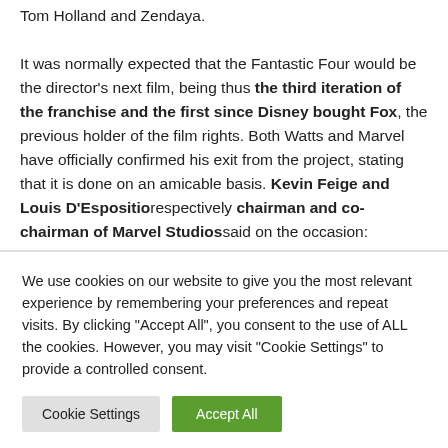Tom Holland and Zendaya. It was normally expected that the Fantastic Four would be the director's next film, being thus the third iteration of the franchise and the first since Disney bought Fox, the previous holder of the film rights. Both Watts and Marvel have officially confirmed his exit from the project, stating that it is done on an amicable basis. Kevin Feige and Louis D'Espositio respectively chairman and co-chairman of Marvel Studios said on the occasion:
We use cookies on our website to give you the most relevant experience by remembering your preferences and repeat visits. By clicking "Accept All", you consent to the use of ALL the cookies. However, you may visit "Cookie Settings" to provide a controlled consent.